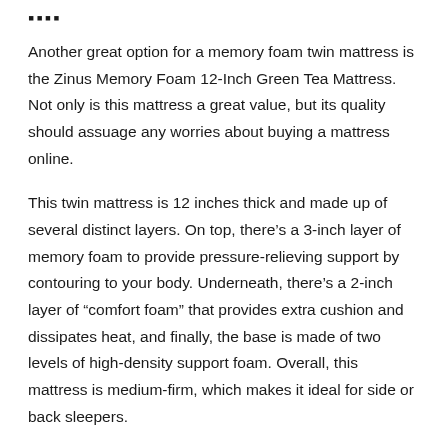Another great option for a memory foam twin mattress is the Zinus Memory Foam 12-Inch Green Tea Mattress. Not only is this mattress a great value, but its quality should assuage any worries about buying a mattress online.
This twin mattress is 12 inches thick and made up of several distinct layers. On top, there's a 3-inch layer of memory foam to provide pressure-relieving support by contouring to your body. Underneath, there's a 2-inch layer of “comfort foam” that provides extra cushion and dissipates heat, and finally, the base is made of two levels of high-density support foam. Overall, this mattress is medium-firm, which makes it ideal for side or back sleepers.